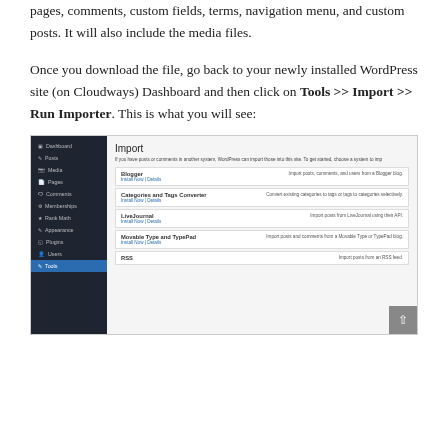pages, comments, custom fields, terms, navigation menu, and custom posts. It will also include the media files.
Once you download the file, go back to your newly installed WordPress site (on Cloudways) Dashboard and then click on Tools >> Import >> Run Importer. This is what you will see:
[Figure (screenshot): Screenshot of WordPress Dashboard showing the Import screen with options for Blogger, Categories and Tags Converter, LiveJournal, Movable Type and TypePad, and RSS importers. The left sidebar shows Dashboard, Posts, Media, Pages, Comments, Memberships, Rank Math, Appearance, Plugins, Users, and Tools (highlighted in blue).]